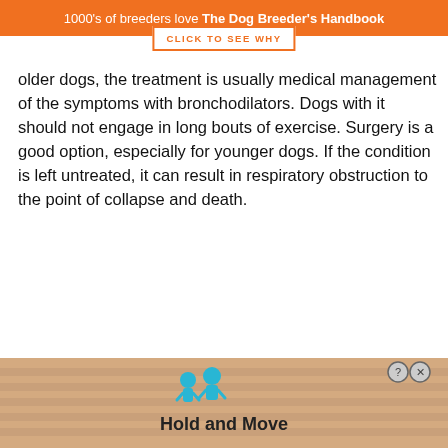1000's of breeders love The Dog Breeder's Handbook
[Figure (other): Orange button with text CLICK TO SEE WHY]
older dogs, the treatment is usually medical management of the symptoms with bronchodilators. Dogs with it should not engage in long bouts of exercise. Surgery is a good option, especially for younger dogs. If the condition is left untreated, it can result in respiratory obstruction to the point of collapse and death.
[Figure (other): Advertisement banner with cartoon figures and text Hold and Move]